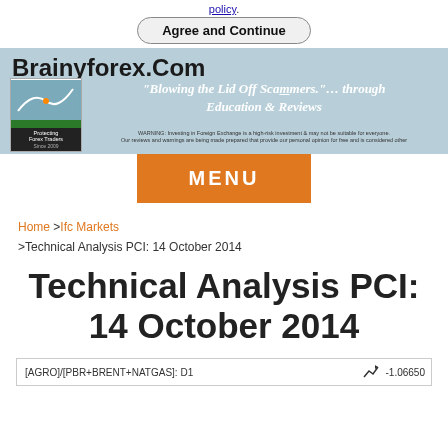policy.
Agree and Continue
[Figure (logo): Brainyforex.Com banner with logo and tagline 'Blowing the Lid Off Scammers... through Education & Reviews']
MENU
Home > Ifc Markets > Technical Analysis PCI: 14 October 2014
Technical Analysis PCI: 14 October 2014
[Figure (screenshot): Chart preview showing [AGRO]/[PBR+BRENT+NATGAS]: D1 with value -1.06650]